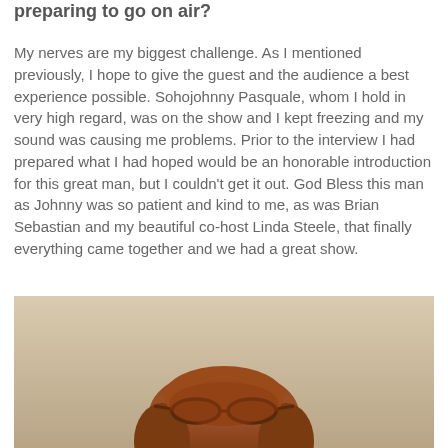preparing to go on air?
My nerves are my biggest challenge. As I mentioned previously, I hope to give the guest and the audience a best experience possible. Sohojohnny Pasquale, whom I hold in very high regard, was on the show and I kept freezing and my sound was causing me problems. Prior to the interview I had prepared what I had hoped would be an honorable introduction for this great man, but I couldn't get it out. God Bless this man as Johnny was so patient and kind to me, as was Brian Sebastian and my beautiful co-host Linda Steele, that finally everything came together and we had a great show.
[Figure (photo): Photo of a person with reddish-brown hair and glasses resting on top of their head, photographed from slightly above against a beige/tan background.]